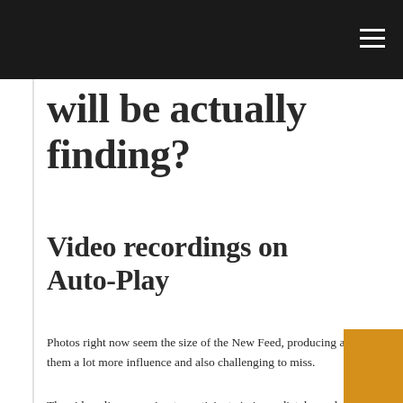will be actually finding?
Video recordings on Auto-Play
Photos right now seem the size of the New Feed, producing all of them a lot more influence and also challenging to miss.
The video clips are going to participate in immediately, each on the pc and also mobile phone variations of the social media. There is actually no audio to the video recordings unless you select all of them, which conserves you coming from must sustain